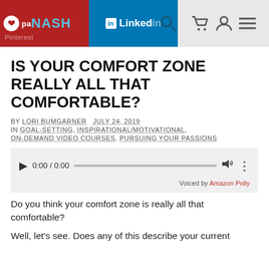paNASH | Pinterest | LinkedIn
IS YOUR COMFORT ZONE REALLY ALL THAT COMFORTABLE?
BY LORI BUMGARNER   JULY 24, 2019
IN GOAL-SETTING, INSPIRATIONAL/MOTIVATIONAL, ON-DEMAND VIDEO COURSES, PURSUING YOUR PASSIONS
[Figure (other): Audio player widget showing 0:00 / 0:00 with play button, progress bar, volume and menu icons. Voiced by Amazon Polly.]
Do you think your comfort zone is really all that comfortable?
Well, let's see. Does any of this describe your current